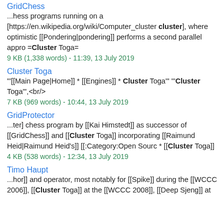GridChess
...hess programs running on a [https://en.wikipedia.org/wiki/Computer_cluster cluster], where optimistic [[Pondering|pondering]] performs a second parallel appro =Cluster Toga=
9 KB (1,338 words) - 11:39, 13 July 2019
Cluster Toga
"'[[Main Page|Home]] * [[Engines]] * Cluster Toga"' "'Cluster Toga"',<br/>
7 KB (969 words) - 10:44, 13 July 2019
GridProtector
...ter] chess program by [[Kai Himstedt]] as successor of [[GridChess]] and [[Cluster Toga]] incorporating [[Raimund Heid|Raimund Heid's]] [[:Category:Open Sourc * [[Cluster Toga]]
4 KB (538 words) - 12:34, 13 July 2019
Timo Haupt
...hor]] and operator, most notably for [[Spike]] during the [[WCCC 2006]], [[Cluster Toga]] at the [[WCCC 2008]], [[Deep Sjeng]] at